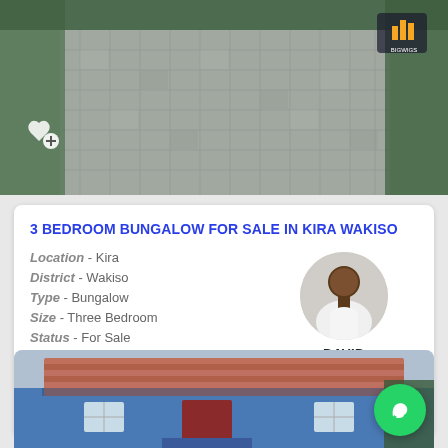[Figure (photo): Paved brick driveway exterior of property with greenery on sides, Bigwigs logo in top right corner, heart/save icon in bottom left]
3 BEDROOM BUNGALOW FOR SALE IN KIRA WAKISO
Location - Kira
District - Wakiso
Type - Bungalow
Size - Three Bedroom
Status - For Sale
Code - 137417
Ugx 350,000,000
[Figure (photo): Agent profile photo of David, a man in white shirt, circular avatar]
DAVID
Share   Call   Chat
[Figure (photo): Bottom portion of a blue bungalow house with terracotta tile roof, WhatsApp floating action button overlay]